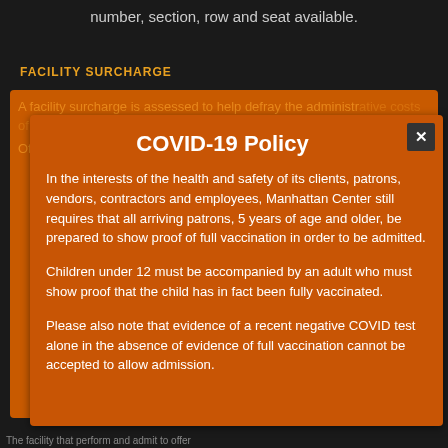number, section, row and seat available.
FACILITY SURCHARGE
COVID-19 Policy
In the interests of the health and safety of its clients, patrons, vendors, contractors and employees, Manhattan Center still requires that all arriving patrons, 5 years of age and older, be prepared to show proof of full vaccination in order to be admitted.
Children under 12 must be accompanied by an adult who must show proof that the child has in fact been fully vaccinated.
Please also note that evidence of a recent negative COVID test alone in the absence of evidence of full vaccination cannot be accepted to allow admission.